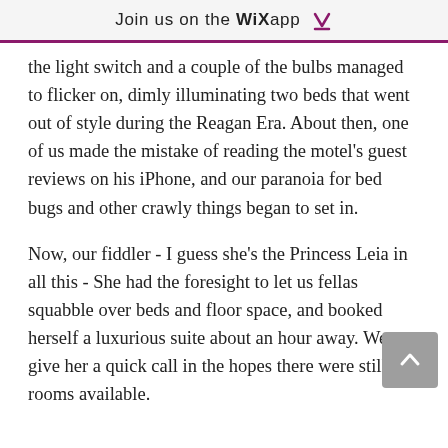Join us on the WiX app
the light switch and a couple of the bulbs managed to flicker on, dimly illuminating two beds that went out of style during the Reagan Era. About then, one of us made the mistake of reading the motel's guest reviews on his iPhone, and our paranoia for bed bugs and other crawly things began to set in.
Now, our fiddler - I guess she's the Princess Leia in all this - She had the foresight to let us fellas squabble over beds and floor space, and booked herself a luxurious suite about an hour away. We give her a quick call in the hopes there were still rooms available.